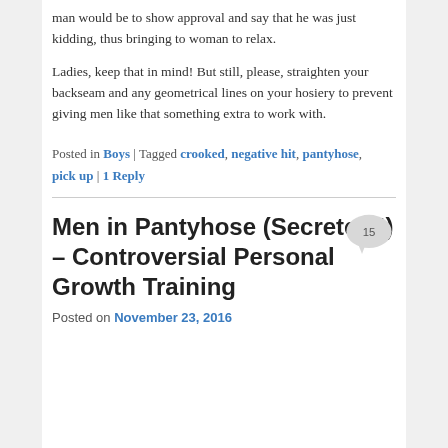man would be to show approval and say that he was just kidding, thus bringing to woman to relax.
Ladies, keep that in mind! But still, please, straighten your backseam and any geometrical lines on your hosiery to prevent giving men like that something extra to work with.
Posted in Boys | Tagged crooked, negative hit, pantyhose, pick up | 1 Reply
Men in Pantyhose (Secretely!) – Controversial Personal Growth Training
Posted on November 23, 2016